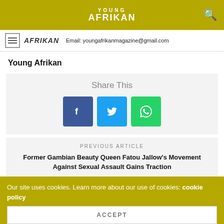YOUNG AFRIKAN
AFRIKAN   Email: youngafrikanmagazine@gmail.com
Young Afrikan
[Figure (infographic): Share This section with Facebook, Twitter, and WhatsApp buttons]
PREVIOUS ARTICLE
Former Gambian Beauty Queen Fatou Jallow's Movement Against Sexual Assault Gains Traction
Our site uses cookies. Learn more about our use of cookies: cookie policy
ACCEPT